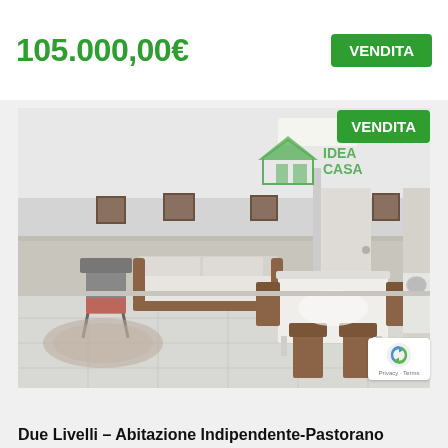105.000,00€
VENDITA
[Figure (photo): Interior photo of a residential property showing a living room with a sofa, folding chair, dining table with chairs, framed pictures on the wall, and a kitchen area in the background. A VENDITA (for sale) badge and IDEA CASA agency watermark are overlaid on the image.]
VENDITA
Privacy · Terms
Due Livelli – Abitazione Indipendente-Pastorano